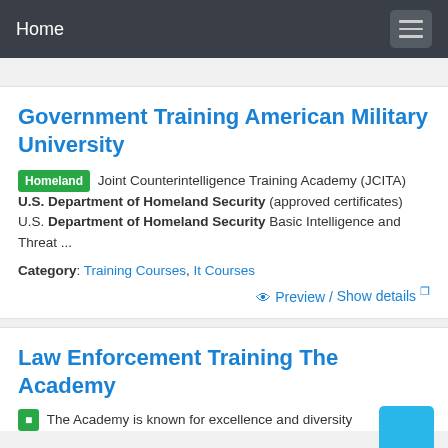Home
Government Training American Military University
Homeland Joint Counterintelligence Training Academy (JCITA) U.S. Department of Homeland Security (approved certificates) U.S. Department of Homeland Security Basic Intelligence and Threat ...
Category: Training Courses, It Courses
Preview / Show details
Law Enforcement Training The Academy
The Academy is known for excellence and diversity...